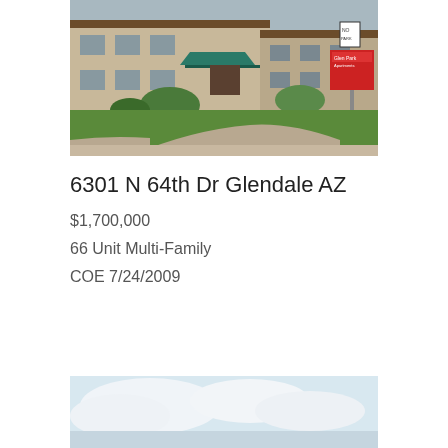[Figure (photo): Exterior photo of Glen Park Apartments at 6301 N 64th Dr, Glendale AZ — two-story beige stucco building with teal awning, green lawn, red signage, and parking area]
6301 N 64th Dr Glendale AZ
$1,700,000
66 Unit Multi-Family
COE 7/24/2009
[Figure (photo): Partial exterior photo showing a light blue sky with white clouds — bottom portion of another property image]